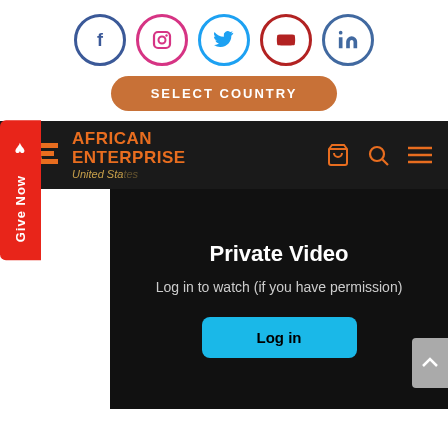[Figure (screenshot): Social media icons: Facebook, Instagram, Twitter, YouTube, LinkedIn in colored circular outlines]
SELECT COUNTRY
[Figure (screenshot): African Enterprise website navigation bar with orange logo, United States, cart, search, and menu icons]
Give Now
Private Video
Log in to watch (if you have permission)
Log in